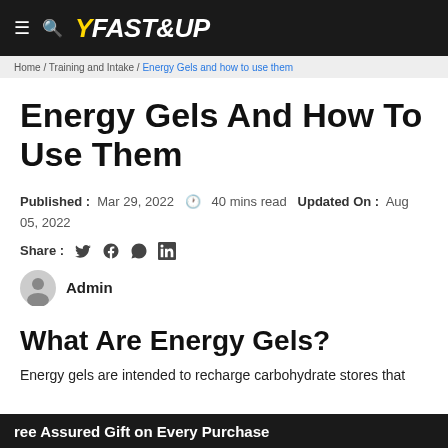FAST&UP
Home / Training and Intake / Energy Gels and how to use them
Energy Gels And How To Use Them
Published: Mar 29, 2022  40 mins read Updated On: Aug 05, 2022
Share: [Twitter] [Facebook] [WhatsApp] [LinkedIn]
Admin
What Are Energy Gels?
Energy gels are intended to recharge carbohydrate stores that
ree Assured Gift on Every Purchase